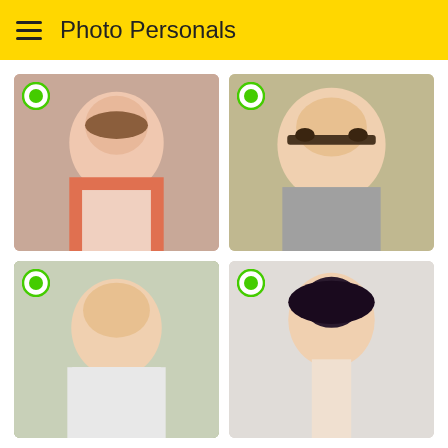Photo Personals
[Figure (photo): Grid of four profile photos of women with green online indicator icons in the top-left corner of each photo]
[Figure (photo): Woman with brown hair wearing an orange/coral jacket, close-up portrait]
[Figure (photo): Blonde woman wearing black-framed glasses, smiling, close-up portrait]
[Figure (photo): Blonde woman in a white knit strapless top, smiling, indoor setting]
[Figure (photo): Dark-haired woman with hand on chin, sitting casually in light clothing]